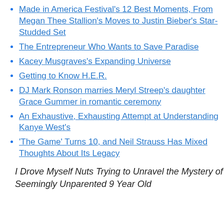Made in America Festival's 12 Best Moments, From Megan Thee Stallion's Moves to Justin Bieber's Star-Studded Set
The Entrepreneur Who Wants to Save Paradise
Kacey Musgraves's Expanding Universe
Getting to Know H.E.R.
DJ Mark Ronson marries Meryl Streep's daughter Grace Gummer in romantic ceremony
An Exhaustive, Exhausting Attempt at Understanding Kanye West's
'The Game' Turns 10, and Neil Strauss Has Mixed Thoughts About Its Legacy
I Drove Myself Nuts Trying to Unravel the Mystery of Seemingly Unparented 9 Year Old